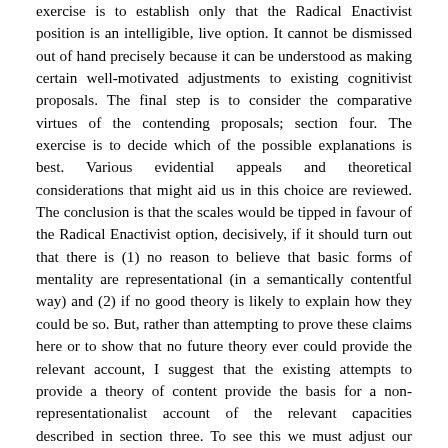exercise is to establish only that the Radical Enactivist position is an intelligible, live option. It cannot be dismissed out of hand precisely because it can be understood as making certain well-motivated adjustments to existing cognitivist proposals. The final step is to consider the comparative virtues of the contending proposals; section four. The exercise is to decide which of the possible explanations is best. Various evidential appeals and theoretical considerations that might aid us in this choice are reviewed. The conclusion is that the scales would be tipped in favour of the Radical Enactivist option, decisively, if it should turn out that there is (1) no reason to believe that basic forms of mentality are representational (in a semantically contentful way) and (2) if no good theory is likely to explain how they could be so. But, rather than attempting to prove these claims here or to show that no future theory ever could provide the relevant account, I suggest that the existing attempts to provide a theory of content provide the basis for a non-representationalist account of the relevant capacities described in section three. To see this we must adjust our ambitions appropriately. Our best naturalistic theories of content may well fail in their stated aims but it is plausible that they do provide us with a viable non-contentful theory of basic mentality. And this is all that we need for understanding basic forms of intentional (with a 't') mentality and what it takes to attend to basic